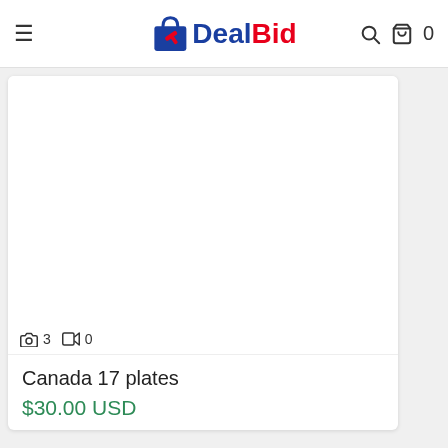DealBid — navigation header with hamburger menu, logo, search icon, cart icon, and cart count 0
[Figure (photo): White/blank product image area for a listing on the DealBid platform, with a media count overlay showing 3 photos and 0 videos]
Canada 17 plates
$30.00 USD